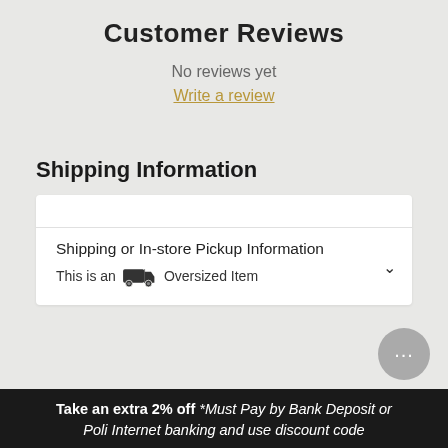Customer Reviews
No reviews yet
Write a review
Shipping Information
Shipping or In-store Pickup Information
This is an [truck icon] Oversized Item
Take an extra 2% off *Must Pay by Bank Deposit or Poli Internet banking and use discount code